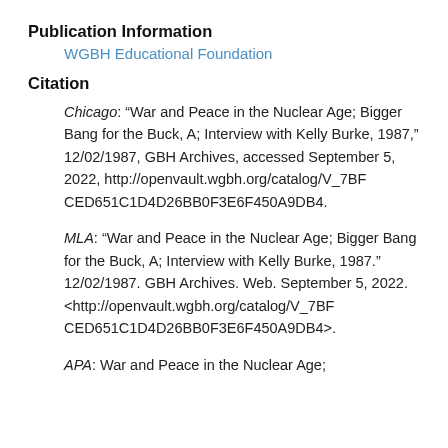Publication Information
WGBH Educational Foundation
Citation
Chicago: “War and Peace in the Nuclear Age; Bigger Bang for the Buck, A; Interview with Kelly Burke, 1987,” 12/02/1987, GBH Archives, accessed September 5, 2022, http://openvault.wgbh.org/catalog/V_7BFCED651C1D4D26BB0F3E6F450A9DB4.
MLA: “War and Peace in the Nuclear Age; Bigger Bang for the Buck, A; Interview with Kelly Burke, 1987.” 12/02/1987. GBH Archives. Web. September 5, 2022. <http://openvault.wgbh.org/catalog/V_7BFCED651C1D4D26BB0F3E6F450A9DB4>.
APA: War and Peace in the Nuclear Age;